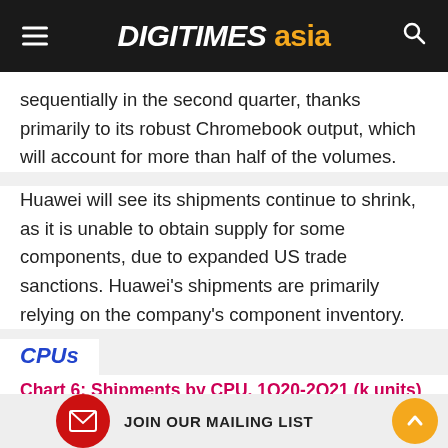DIGITIMES asia
sequentially in the second quarter, thanks primarily to its robust Chromebook output, which will account for more than half of the volumes.
Huawei will see its shipments continue to shrink, as it is unable to obtain supply for some components, due to expanded US trade sanctions. Huawei's shipments are primarily relying on the company's component inventory.
CPUs
Chart 6: Shipments by CPU, 1Q20-2Q21 (k units)
[Figure (bar-chart): Partial bar chart showing shipments by CPU from 1Q20 to 2Q21 in thousands of units. Y-axis labels visible: 40,000 and 35,000. Bar tops partially visible at bottom of image in red/crimson color.]